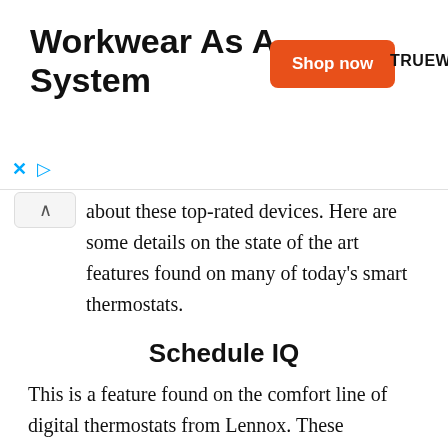[Figure (other): Advertisement banner for Truewerk workwear showing 'Workwear As A System' title, an orange 'Shop now' button, and TRUEWERK brand name, with close (X) and play controls.]
about these top-rated devices. Here are some details on the state of the art features found on many of today's smart thermostats.
Schedule IQ
This is a feature found on the comfort line of digital thermostats from Lennox. These thermostats are not considered programmable in the same sense that many of us are accustomed to. Instead of the owner manually programming the thermostat to work how they want it, a new Lennox smart thermostat with Schedule IQ learns how to adjust your thermostat for you based on